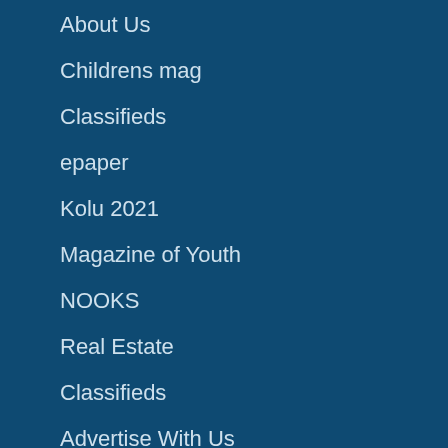About Us
Childrens mag
Classifieds
epaper
Kolu 2021
Magazine of Youth
NOOKS
Real Estate
Classifieds
Advertise With Us
Contact
RECENT POSTS